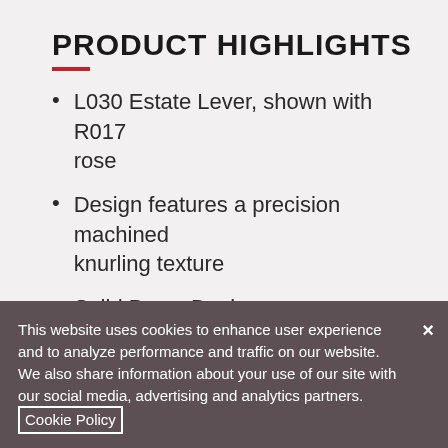PRODUCT HIGHLIGHTS
L030 Estate Lever, shown with R017 rose
Design features a precision machined knurling texture
Solid Brass Design
Finished and polished by hand
Rose Sold Seperately, pair with any of our Estate a la carte rosettes
This website uses cookies to enhance user experience and to analyze performance and traffic on our website. We also share information about your use of our site with our social media, advertising and analytics partners. Cookie Policy